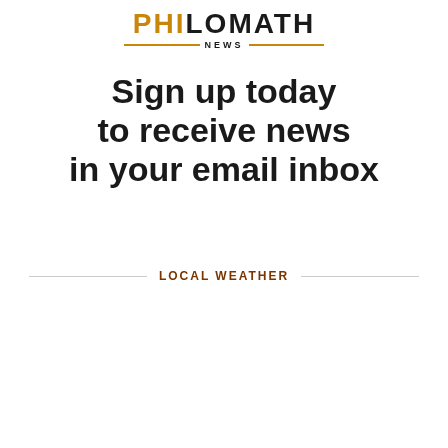PHILOMATH NEWS
Sign up today to receive news in your email inbox
LOCAL WEATHER